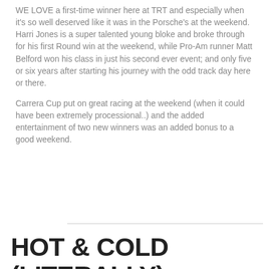WE LOVE a first-time winner here at TRT and especially when it's so well deserved like it was in the Porsche's at the weekend. Harri Jones is a super talented young bloke and broke through for his first Round win at the weekend, while Pro-Am runner Matt Belford won his class in just his second ever event; and only five or six years after starting his journey with the odd track day here or there.
Carrera Cup put on great racing at the weekend (when it could have been extremely processional..) and the added entertainment of two new winners was an added bonus to a good weekend.
HOT & COLD (LITERALLY)